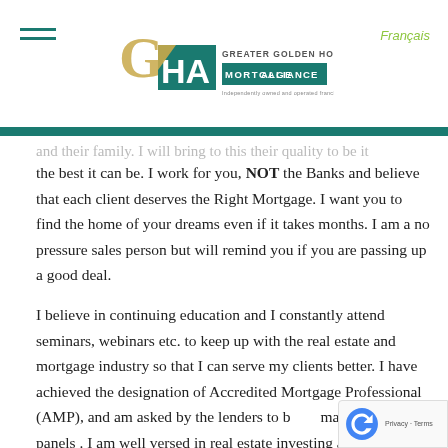Greater Golden Horseshoe Mortgage Alliance | Français
and their family. I will bring to this their quality to be it the best it can be. I work for you, NOT the Banks and believe that each client deserves the Right Mortgage. I want you to find the home of your dreams even if it takes months. I am a no pressure sales person but will remind you if you are passing up a good deal.
I believe in continuing education and I constantly attend seminars, webinars etc. to keep up with the real estate and mortgage industry so that I can serve my clients better. I have achieved the designation of Accredited Mortgage Professional (AMP), and am asked by the lenders to be on many industry panels . I am well versed in real estate investing as well as using your RRSP's to invest in